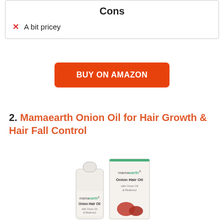Cons
A bit pricey
BUY ON AMAZON
2. Mamaearth Onion Oil for Hair Growth & Hair Fall Control
[Figure (photo): Mamaearth Onion Hair Oil bottle and box product photo]